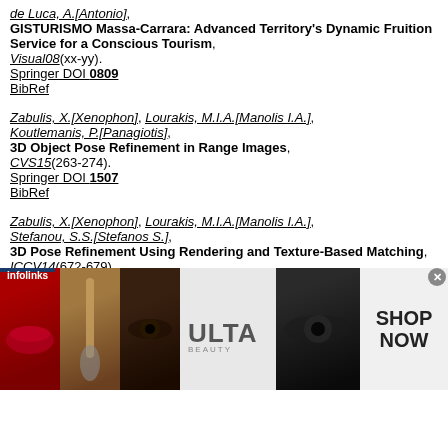de Luca, A.[Antonio], GISTURISMO Massa-Carrara: Advanced Territory's Dynamic Fruition Service for a Conscious Tourism, Visual08(xx-yy). Springer DOI 0809 BibRef
Zabulis, X.[Xenophon], Lourakis, M.I.A.[Manolis I.A.], Koutlemanis, P.[Panagiotis], 3D Object Pose Refinement in Range Images, CVS15(263-274). Springer DOI 1507 BibRef
Zabulis, X.[Xenophon], Lourakis, M.I.A.[Manolis I.A.], Stefanou, S.S.[Stefanos S.], 3D Pose Refinement Using Rendering and Texture-Based Matching, ICCV14(672-679).
[Figure (photo): Advertisement banner from Ulta Beauty with close-up beauty images (lips, makeup brush, eyes) and ULTA logo, with SHOP NOW text on the right. Infolinks label in bottom-left.]